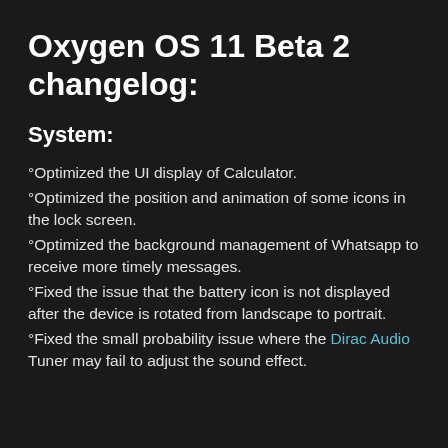Oxygen OS 11 Beta 2 changelog:
System:
°Optimized the UI display of Calculator.
°Optimized the position and animation of some icons in the lock screen.
°Optimized the background management of Whatsapp to receive more timely messages.
°Fixed the issue that the battery icon is not displayed after the device is rotated from landscape to portrait.
°Fixed the small probability issue where the Dirac Audio Tuner may fail to adjust the sound effect.